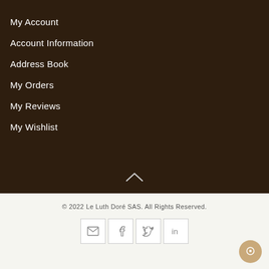My Account
Account Information
Address Book
My Orders
My Reviews
My Wishlist
© 2022 Le Luth Doré SAS. All Rights Reserved.